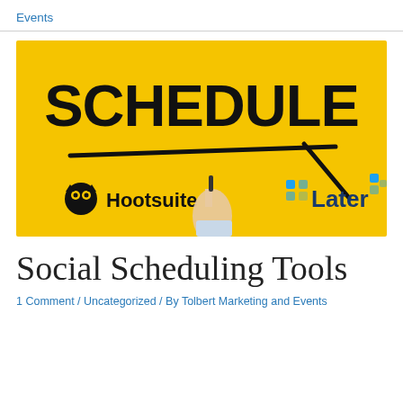Events
[Figure (illustration): Yellow background image showing the word SCHEDULE in large bold handwritten font with an arrow drawn underneath pointing right. A hand holding a marker is visible. Hootsuite logo and name on the left bottom, Later logo on the right bottom.]
Social Scheduling Tools
1 Comment / Uncategorized / By Tolbert Marketing and Events